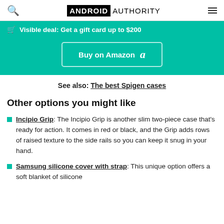ANDROID AUTHORITY
Visible deal: Get a gift card up to $200
Buy on Amazon
See also: The best Spigen cases
Other options you might like
Incipio Grip: The Incipio Grip is another slim two-piece case that's ready for action. It comes in red or black, and the Grip adds rows of raised texture to the side rails so you can keep it snug in your hand.
Samsung silicone cover with strap: This unique option offers a soft blanket of silicone